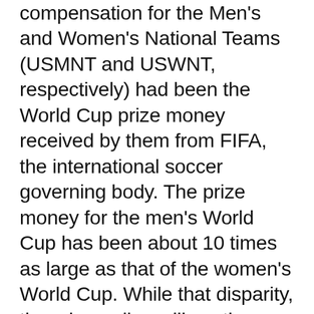compensation for the Men's and Women's National Teams (USMNT and USWNT, respectively) had been the World Cup prize money received by them from FIFA, the international soccer governing body. The prize money for the men's World Cup has been about 10 times as large as that of the women's World Cup. While that disparity, though smaller, will continue, the Men's and Women's National Teams and USSF have agreed to pool the prize money received from FIFA for the next two pairs of men's and women's World Cup tournaments and divide the players' share of the pool equally between the players on the two teams. No other country's soccer federation pools prize money and divides it equally to its men's and women's national teams.
USSF will sign separate labor contracts with each